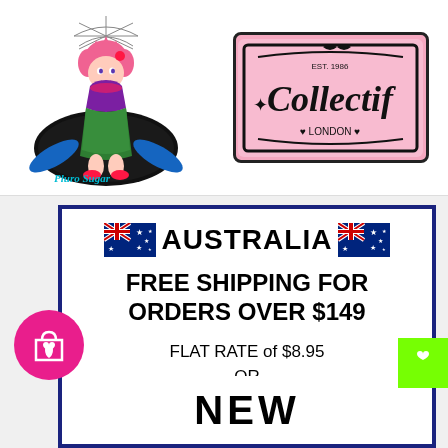[Figure (logo): Pluro Sugar pin-up character logo with pink-haired woman in green dress]
[Figure (logo): Collectif London logo on pink background with decorative border]
🇦🇺 AUSTRALIA 🇦🇺
FREE SHIPPING FOR ORDERS OVER $149
FLAT RATE of $8.95
OR
$11.95 for Express Postage
[Figure (other): Pink circle button with shopping bag and heart icon]
[Figure (other): Green square button with heart icon]
NEW